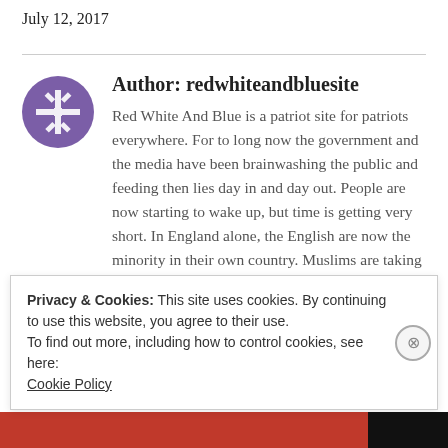July 12, 2017
Author: redwhiteandbluesite
Red White And Blue is a patriot site for patriots everywhere. For to long now the government and the media have been brainwashing the public and feeding then lies day in and day out. People are now starting to wake up, but time is getting very short. In England alone, the English are now the minority in their own country. Muslims are taking over everywhere and the
Privacy & Cookies: This site uses cookies. By continuing to use this website, you agree to their use.
To find out more, including how to control cookies, see here:
Cookie Policy
Close and accept